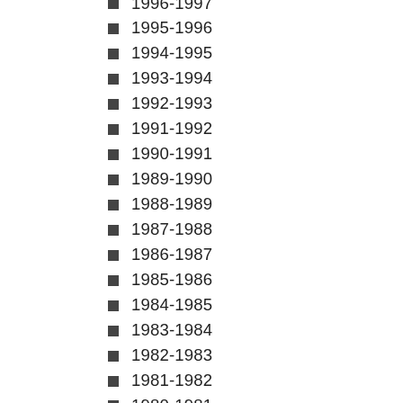1996-1997
1995-1996
1994-1995
1993-1994
1992-1993
1991-1992
1990-1991
1989-1990
1988-1989
1987-1988
1986-1987
1985-1986
1984-1985
1983-1984
1982-1983
1981-1982
1980-1981
1979-1980
2014-2015
1978-1979
1977-1978
1976-1977